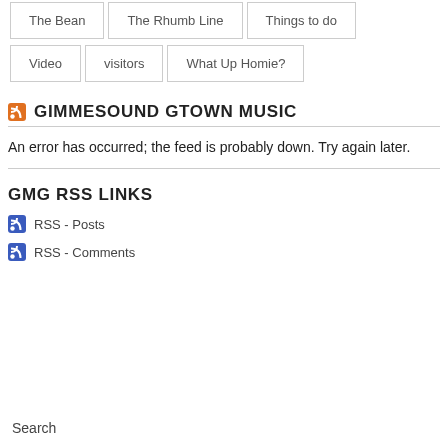The Bean
The Rhumb Line
Things to do
Video
visitors
What Up Homie?
GIMMESOUND GTOWN MUSIC
An error has occurred; the feed is probably down. Try again later.
GMG RSS LINKS
RSS - Posts
RSS - Comments
Search